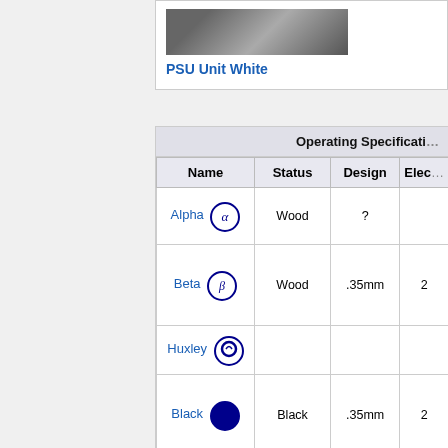[Figure (photo): Photo of PSU unit hardware (mechanical assembly with cables)]
PSU Unit White
| Name | Status | Design | Elec... |
| --- | --- | --- | --- |
| Alpha | Wood | ? |  |
| Beta | Wood | .35mm | 2 |
| Huxley |  |  |  |
| Black | Black | .35mm | 2 |
| White | White | .35mm | 2050 |